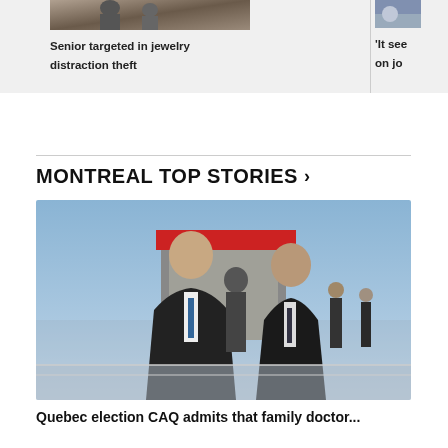[Figure (photo): Cropped news thumbnail: Senior jewelry distraction theft story image]
Senior targeted in jewelry distraction theft
'It see on jo
MONTREAL TOP STORIES >
[Figure (photo): Two men in dark suits walking outdoors, one in foreground, background shows a structure with red roof and other people]
Quebec election CAQ admits that family doctor...